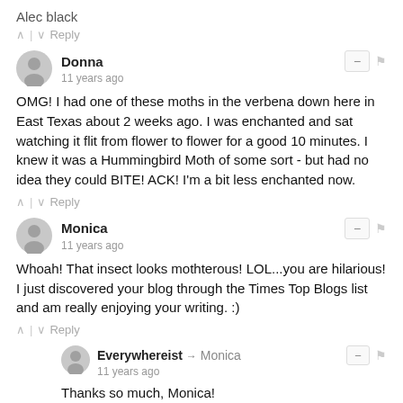Alec black
^ | v  Reply
Donna
11 years ago
OMG! I had one of these moths in the verbena down here in East Texas about 2 weeks ago. I was enchanted and sat watching it flit from flower to flower for a good 10 minutes. I knew it was a Hummingbird Moth of some sort - but had no idea they could BITE! ACK! I'm a bit less enchanted now.
^ | v  Reply
Monica
11 years ago
Whoah! That insect looks mothterous! LOL...you are hilarious! I just discovered your blog through the Times Top Blogs list and am really enjoying your writing. :)
^ | v  Reply
Everywhereist → Monica
11 years ago
Thanks so much, Monica!